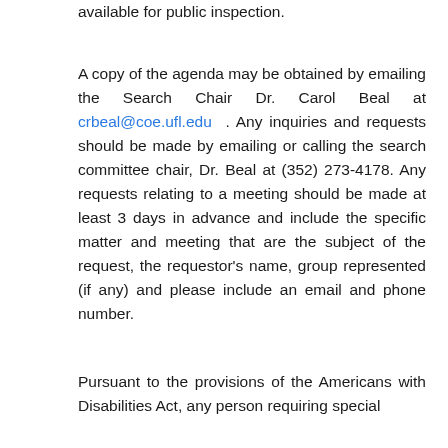available for public inspection.
A copy of the agenda may be obtained by emailing the Search Chair Dr. Carol Beal at crbeal@coe.ufl.edu . Any inquiries and requests should be made by emailing or calling the search committee chair, Dr. Beal at (352) 273-4178. Any requests relating to a meeting should be made at least 3 days in advance and include the specific matter and meeting that are the subject of the request, the requestor's name, group represented (if any) and please include an email and phone number.
Pursuant to the provisions of the Americans with Disabilities Act, any person requiring special